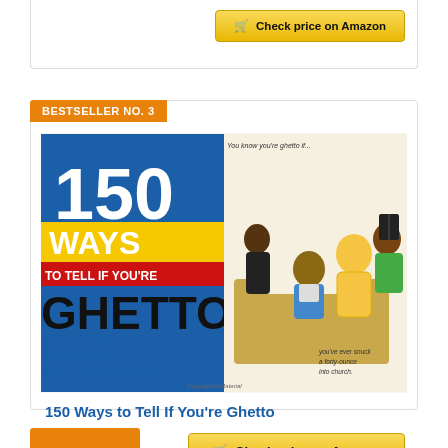[Figure (other): Top portion of a previous product card with a Check price on Amazon button]
BESTSELLER NO. 3
[Figure (illustration): Book cover of '150 Ways to Tell If You're Ghetto' by Shawn Wayans, Chris Spencer, & Suli McCullough. Shows cartoon illustration of people on a couch with humorous captions.]
150 Ways to Tell If You're Ghetto
[Figure (other): Check price on Amazon button (gold/yellow)]
BESTSELLER NO. (partial — bottom of page)